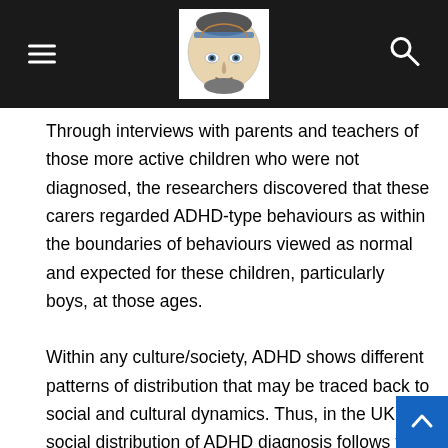[Navigation header with hamburger menu, logo image, and search icon]
Through interviews with parents and teachers of those more active children who were not diagnosed, the researchers discovered that these carers regarded ADHD-type behaviours as within the boundaries of behaviours viewed as normal and expected for these children, particularly boys, at those ages.
Within any culture/society, ADHD shows different patterns of distribution that may be traced back to social and cultural dynamics. Thus, in the UK, the social distribution of ADHD diagnosis follows the contours of a class-based gradient. Children exhibiting the symptoms of any emotional or behavioural disorder, including those with symptoms of ADHD, are much more likely to be poor, to be raised by single and/or unemployed parents, to grow up in